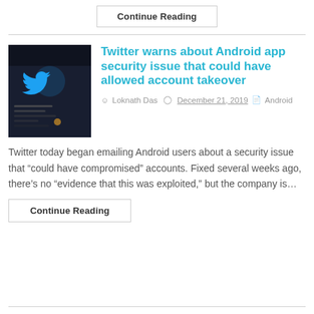Continue Reading
[Figure (photo): Dark smartphone screen showing the Twitter app with the Twitter bird logo visible in blue on a dark background]
Twitter warns about Android app security issue that could have allowed account takeover
Loknath Das  December 21, 2019  Android
Twitter today began emailing Android users about a security issue that “could have compromised” accounts. Fixed several weeks ago, there’s no “evidence that this was exploited,” but the company is…
Continue Reading